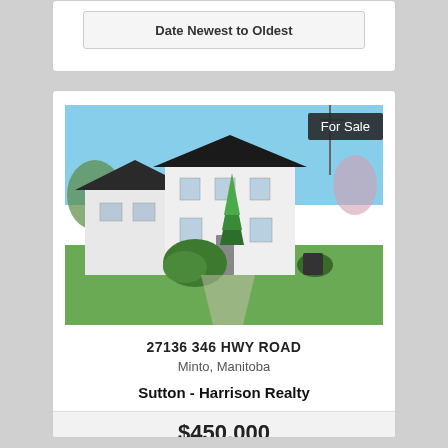Date Newest to Oldest
[Figure (photo): Exterior photo of a white two-storey house with dark roof, tall conifer trees in front, green lawn, clear blue sky. A 'For Sale' badge appears in the top-right corner of the photo.]
For Sale
27136 346 HWY ROAD
Minto, Manitoba
Sutton - Harrison Realty
$450,000
3 bedrooms + 3 bathrooms